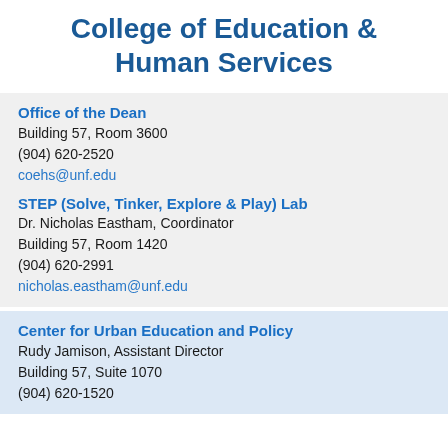College of Education & Human Services
Office of the Dean
Building 57, Room 3600
(904) 620-2520
coehs@unf.edu
STEP (Solve, Tinker, Explore & Play) Lab
Dr. Nicholas Eastham, Coordinator
Building 57, Room 1420
(904) 620-2991
nicholas.eastham@unf.edu
Center for Urban Education and Policy
Rudy Jamison, Assistant Director
Building 57, Suite 1070
(904) 620-1520